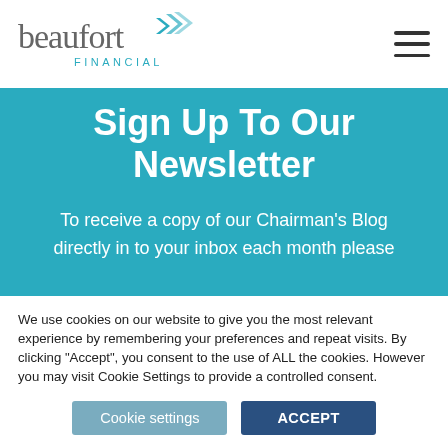[Figure (logo): Beaufort Financial logo with teal chevron arrows and grey/teal wordmark]
Sign Up To Our Newsletter
To receive a copy of our Chairman's Blog directly in to your inbox each month please
We use cookies on our website to give you the most relevant experience by remembering your preferences and repeat visits. By clicking “Accept”, you consent to the use of ALL the cookies. However you may visit Cookie Settings to provide a controlled consent.